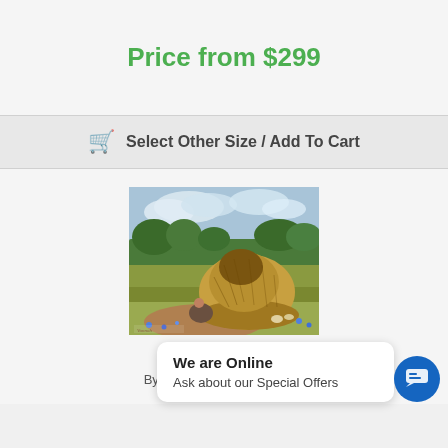Price from $299
Select Other Size / Add To Cart
[Figure (illustration): Painting of a haystack in a rural landscape with a figure resting at its base and blue wildflowers in the foreground]
The Seista
By Robert William Vonnoh
Size
We are Online
Ask about our Special Offers